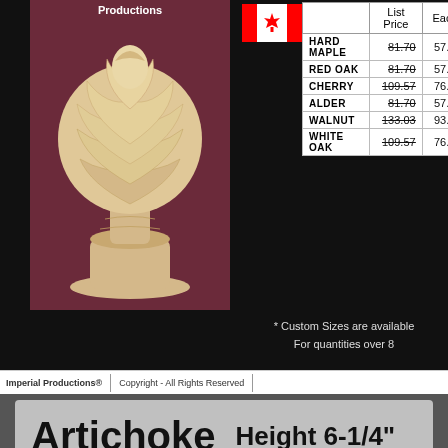[Figure (photo): Wood artichoke finial product photo on dark red/maroon background, with 'Productions' label at top]
[Figure (other): Canadian flag icon]
|  | List Price | Each |  |
| --- | --- | --- | --- |
| HARD MAPLE | 81.70 | 57.19 | 4 |
| RED OAK | 81.70 | 57.19 | 4 |
| CHERRY | 109.57 | 76.70 | 6 |
| ALDER | 81.70 | 57.19 | 4 |
| WALNUT | 133.03 | 93.12 | 7 |
| WHITE OAK | 109.57 | 76.70 | 6 |
* Custom Sizes are available For quantities over 8
Imperial Productions® Copyright - All Rights Reserved
Artichoke   Height 6-1/4"
[Figure (logo): Imperial Productions emblem badge]
IPCVFN86
[Figure (other): US flag icon]